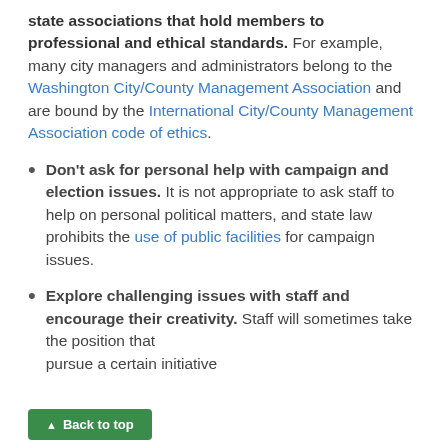state associations that hold members to professional and ethical standards. For example, many city managers and administrators belong to the Washington City/County Management Association and are bound by the International City/County Management Association code of ethics.
Don't ask for personal help with campaign and election issues. It is not appropriate to ask staff to help on personal political matters, and state law prohibits the use of public facilities for campaign issues.
Explore challenging issues with staff and encourage their creativity. Staff will sometimes take the position that [they cannot] pursue a certain initiative